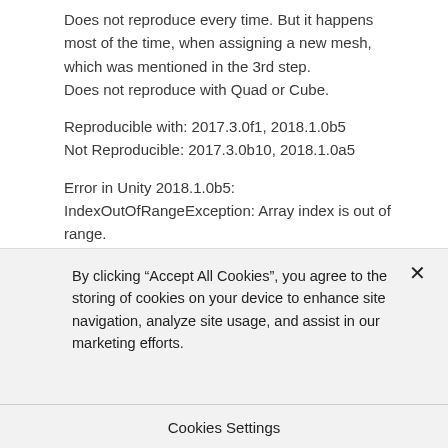Does not reproduce every time. But it happens most of the time, when assigning a new mesh, which was mentioned in the 3rd step.
Does not reproduce with Quad or Cube.
Reproducible with: 2017.3.0f1, 2018.1.0b5
Not Reproducible: 2017.3.0b10, 2018.1.0a5
Error in Unity 2018.1.0b5:
IndexOutOfRangeException: Array index is out of range.
UnityEditor.ClothInspector.GetMouseVertex (UnityEngine.Event e) (at C:/buildslave/unity/build/Editor/Mono/Inspector/ClothInspector.cs:323)
By clicking “Accept All Cookies”, you agree to the storing of cookies on your device to enhance site navigation, analyze site usage, and assist in our marketing efforts.
Cookies Settings